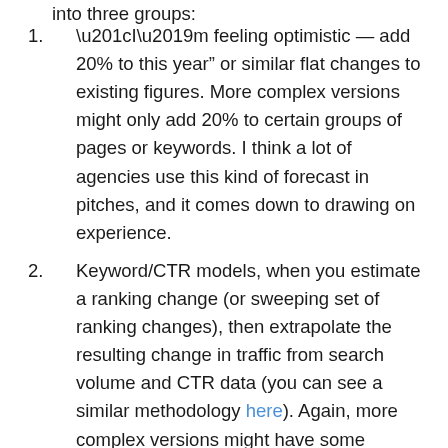into three groups:
“I’m feeling optimistic — add 20% to this year” or similar flat changes to existing figures. More complex versions might only add 20% to certain groups of pages or keywords. I think a lot of agencies use this kind of forecast in pitches, and it comes down to drawing on experience.
Keyword/CTR models, when you estimate a ranking change (or sweeping set of ranking changes), then extrapolate the resulting change in traffic from search volume and CTR data (you can see a similar methodology here). Again, more complex versions might have some